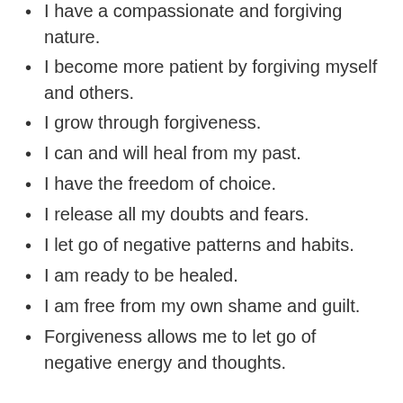I have a compassionate and forgiving nature.
I become more patient by forgiving myself and others.
I grow through forgiveness.
I can and will heal from my past.
I have the freedom of choice.
I release all my doubts and fears.
I let go of negative patterns and habits.
I am ready to be healed.
I am free from my own shame and guilt.
Forgiveness allows me to let go of negative energy and thoughts.